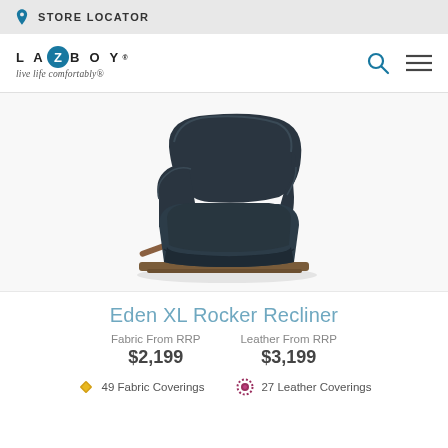STORE LOCATOR
[Figure (logo): La-Z-Boy logo with tagline 'live life comfortably']
[Figure (photo): Dark navy blue Eden XL Rocker Recliner chair with wooden base and side handle lever]
Eden XL Rocker Recliner
Fabric From RRP $2,199
Leather From RRP $3,199
49 Fabric Coverings
27 Leather Coverings